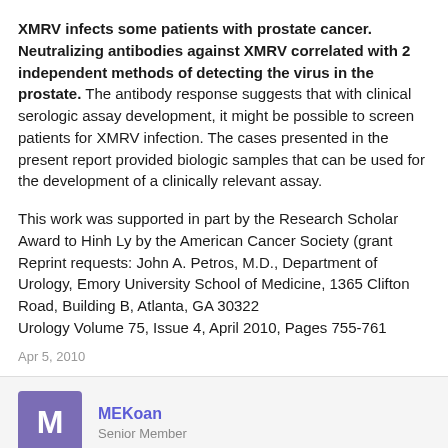XMRV infects some patients with prostate cancer. Neutralizing antibodies against XMRV correlated with 2 independent methods of detecting the virus in the prostate. The antibody response suggests that with clinical serologic assay development, it might be possible to screen patients for XMRV infection. The cases presented in the present report provided biologic samples that can be used for the development of a clinically relevant assay.
This work was supported in part by the Research Scholar Award to Hinh Ly by the American Cancer Society (grant Reprint requests: John A. Petros, M.D., Department of Urology, Emory University School of Medicine, 1365 Clifton Road, Building B, Atlanta, GA 30322
Urology Volume 75, Issue 4, April 2010, Pages 755-761
Apr 5, 2010
MEKoan
Senior Member